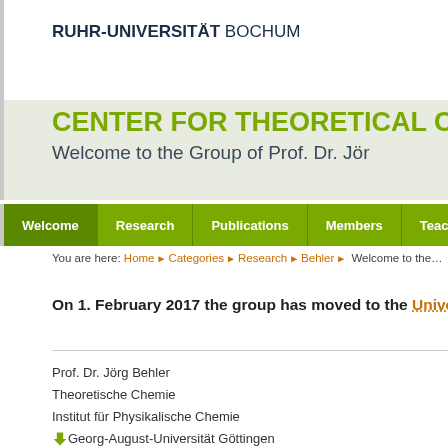RUHR-UNIVERSITÄT BOCHUM
CENTER FOR THEORETICAL C…
Welcome to the Group of Prof. Dr. Jör…
Welcome | Research | Publications | Members | Teaching | Co…
You are here: Home ▶ Categories ▶ Research ▶ Behler ▶ Welcome to the…
On 1. February 2017 the group has moved to the Unive…
Prof. Dr. Jörg Behler
Theoretische Chemie
Institut für Physikalische Chemie
Georg-August-Universität Göttingen
Tammannstr. 6, D-37077 Göttingen